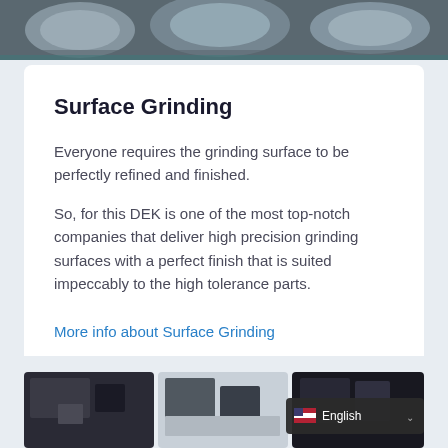[Figure (photo): Top portion of an industrial grinding machine, showing metallic cylindrical components, cropped at the top of the page.]
Surface Grinding
Everyone requires the grinding surface to be perfectly refined and finished.
So, for this DEK is one of the most top-notch companies that deliver high precision grinding surfaces with a perfect finish that is suited impeccably to the high tolerance parts.
More info about Surface Grinding
[Figure (photo): Bottom strip showing partial thumbnails of industrial machinery images, with an English language selector overlay on the right side.]